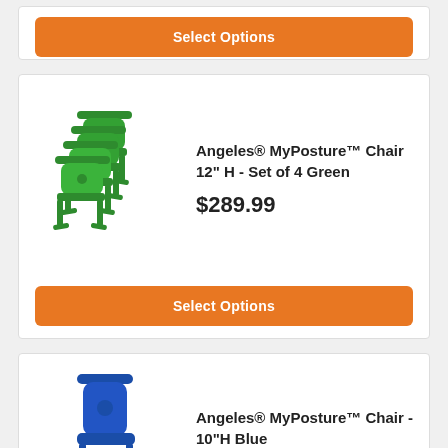[Figure (other): Orange 'Select Options' button at top of page (partial card)]
[Figure (photo): Stack of 4 green Angeles MyPosture chairs]
Angeles® MyPosture™ Chair 12" H - Set of 4 Green
$289.99
[Figure (other): Orange 'Select Options' button]
[Figure (photo): Single blue Angeles MyPosture chair]
Angeles® MyPosture™ Chair - 10"H Blue
$79.99